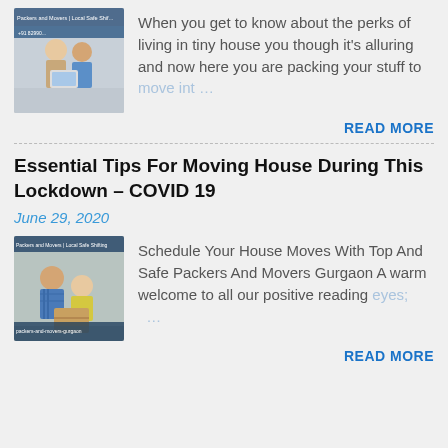[Figure (photo): Thumbnail image of two people looking at a laptop, with text overlay 'Packers and Movers | Local Safe Shifting']
When you get to know about the perks of living in tiny house you though it's alluring and now here you are packing your stuff to move int…
READ MORE
Essential Tips For Moving House During This Lockdown – COVID 19
June 29, 2020
[Figure (photo): Thumbnail image of two people packing boxes on the floor, with text overlay 'Packers and Movers | Local Safe Shifting, packers-and-movers-gurgaon']
Schedule Your House Moves With Top And Safe Packers And Movers Gurgaon A warm welcome to all our positive reading eyes;…
READ MORE